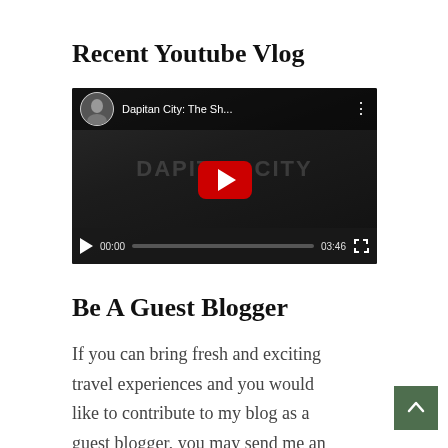Recent Youtube Vlog
[Figure (screenshot): Embedded YouTube video player showing 'Dapitan City: The Sh...' with play button, progress bar showing 00:00 / 03:46, and a circular avatar thumbnail. Dark background with 'DAPITAN CITY' watermark text.]
Be A Guest Blogger
If you can bring fresh and exciting travel experiences and you would like to contribute to my blog as a guest blogger, you may send me an